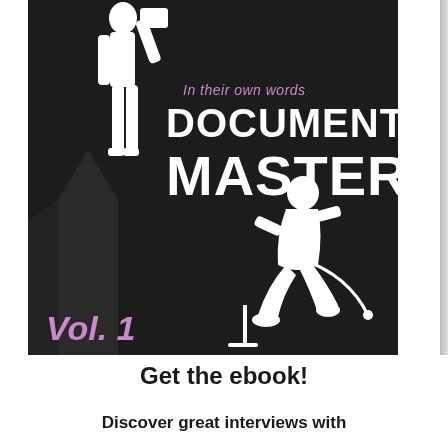[Figure (illustration): Book cover for 'Documentary Masters Vol. 1 - In their own words'. Dark/black background with white silhouettes of two figures: a tall standing person on the left and a crouching/seated person with camera equipment on the right. Title text overlaid.]
Get the ebook!
Discover great interviews with